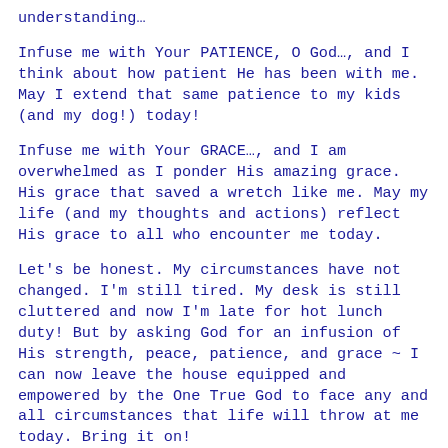understanding…
Infuse me with Your PATIENCE, O God…, and I think about how patient He has been with me. May I extend that same patience to my kids (and my dog!) today!
Infuse me with Your GRACE…, and I am overwhelmed as I ponder His amazing grace. His grace that saved a wretch like me. May my life (and my thoughts and actions) reflect His grace to all who encounter me today.
Let's be honest. My circumstances have not changed. I'm still tired. My desk is still cluttered and now I'm late for hot lunch duty! But by asking God for an infusion of His strength, peace, patience, and grace ~ I can now leave the house equipped and empowered by the One True God to face any and all circumstances that life will throw at me today. Bring it on!
What about you? God has an infusion for